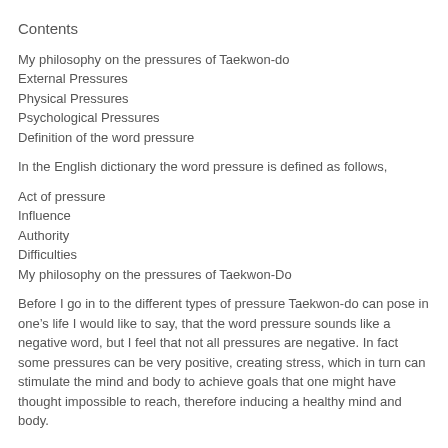Contents
My philosophy on the pressures of Taekwon-do
External Pressures
Physical Pressures
Psychological Pressures
Definition of the word pressure
In the English dictionary the word pressure is defined as follows,
Act of pressure
Influence
Authority
Difficulties
My philosophy on the pressures of Taekwon-Do
Before I go in to the different types of pressure Taekwon-do can pose in one’s life I would like to say, that the word pressure sounds like a negative word, but I feel that not all pressures are negative. In fact some pressures can be very positive, creating stress, which in turn can stimulate the mind and body to achieve goals that one might have thought impossible to reach, therefore inducing a healthy mind and body.